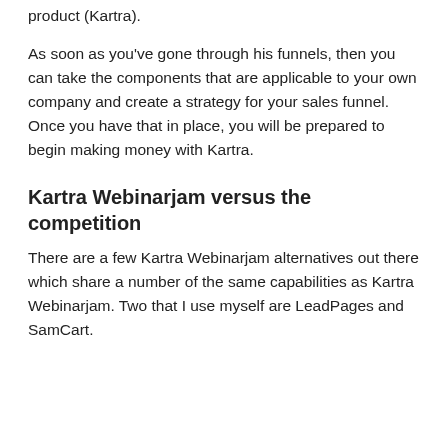product (Kartra).
As soon as you've gone through his funnels, then you can take the components that are applicable to your own company and create a strategy for your sales funnel. Once you have that in place, you will be prepared to begin making money with Kartra.
Kartra Webinarjam versus the competition
There are a few Kartra Webinarjam alternatives out there which share a number of the same capabilities as Kartra Webinarjam. Two that I use myself are LeadPages and SamCart.